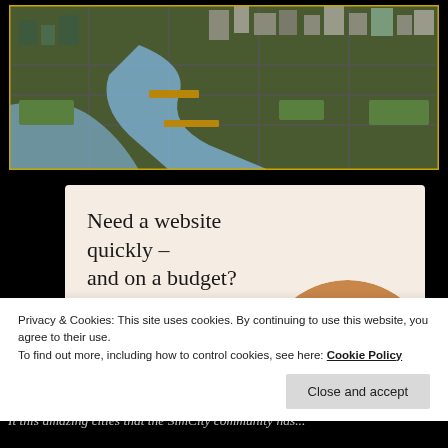[Figure (screenshot): Aerial/isometric view of a city with rivers, bridges, roads, and green areas — appears to be a city simulation game screenshot with a yellow border]
[Figure (infographic): Advertising banner with beige background: 'Need a website quickly – and on a budget? Let us build it for you' with a 'Let's get started' button and a circular photo of hands typing on a laptop]
Privacy & Cookies: This site uses cookies. By continuing to use this website, you agree to their use.
To find out more, including how to control cookies, see here: Cookie Policy
Close and accept
It this amazing cities that the SimCity community has...